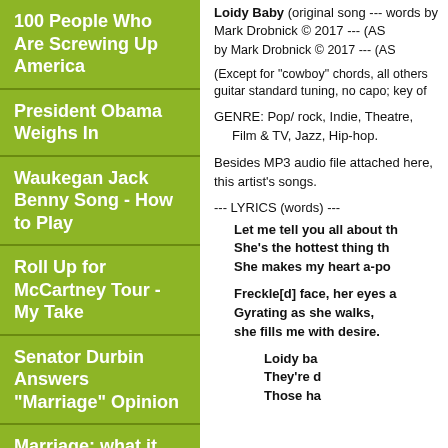100 People Who Are Screwing Up America
President Obama Weighs In
Waukegan Jack Benny Song - How to Play
Roll Up for McCartney Tour - My Take
Senator Durbin Answers "Marriage" Opinion
Marriage: what it Means to rest of Us
Paul McCartney meet/greet request-Mark Drobnick
Loidy Baby  (original song --- words by Mark Drobnick © 2017 --- (AS
(Except for "cowboy" chords, all others guitar standard tuning, no capo; key of
GENRE:  Pop/ rock, Indie, Theatre, Film & TV, Jazz, Hip-hop.
Besides MP3 audio file attached here, this artist's songs.
--- LYRICS (words) ---
Let me tell you all about th
She's the hottest thing th
She makes my heart a-po
Freckle[d] face, her eyes a
Gyrating as she walks,
she fills me with desire.
Loidy ba
They're d
Those ha